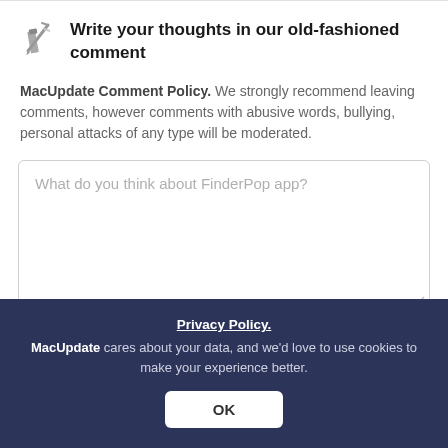Write your thoughts in our old-fashioned comment
MacUpdate Comment Policy. We strongly recommend leaving comments, however comments with abusive words, bullying, personal attacks of any type will be moderated.
What do you think about FinderPop app?
Email me when someone replies to this comment
Post Comment
Privacy Policy.
MacUpdate cares about your data, and we'd love to use cookies to make your experience better.
OK